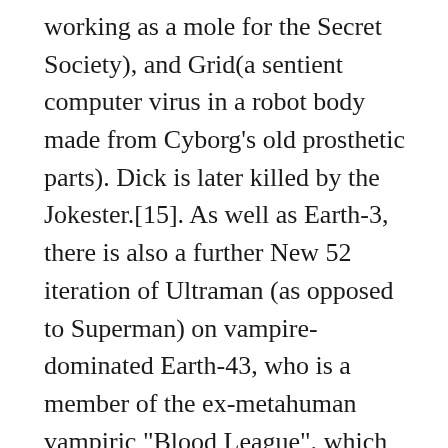working as a mole for the Secret Society), and Grid(a sentient computer virus in a robot body made from Cyborg's old prosthetic parts). Dick is later killed by the Jokester.[15]. As well as Earth-3, there is also a further New 52 iteration of Ultraman (as opposed to Superman) on vampire-dominated Earth-43, who is a member of the ex-metahuman vampiric "Blood League", which also includes vampire analogues of Batman, Robin, Cyborg, Green Lantern and Wonder Woman, as well as supervillains such as the Joker and Doctor Sivana. The follow-up to the NEW YORK TIMES #1 bestselling graphic novels SUPERMAN: EARTH ONE VOL. It did leave the universe open for more stories, and